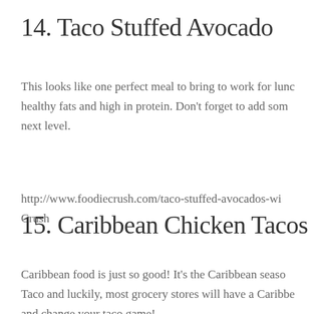14. Taco Stuffed Avocado
This looks like one perfect meal to bring to work for lunch — healthy fats and high in protein. Don't forget to add some next level.
http://www.foodiecrush.com/taco-stuffed-avocados-wi... Crush
15. Caribbean Chicken Tacos
Caribbean food is just so good! It's the Caribbean seaso... Taco and luckily, most grocery stores will have a Caribbe... and change your taco game!